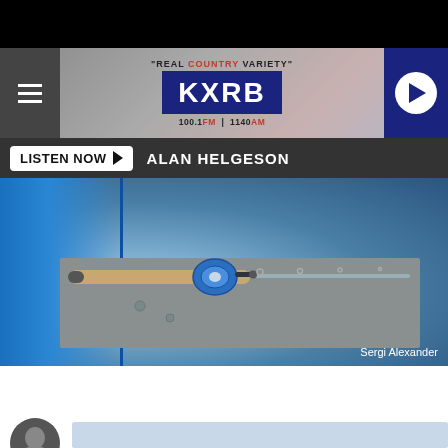[Figure (screenshot): KXRB radio station header banner with hamburger menu, KXRB logo (Real Country Variety, 100.1 FM | 1140 AM), and play button]
LISTEN NOW ▶  ALAN HELGESON
[Figure (photo): Fishing rod and baitcasting reel resting on the deck of a blue boat. Photo credit: Sergi Alexander]
Sergi Alexander
RECORD BASS CAUGHT AT LAKE OAHE IN SOUTH DAKOTA